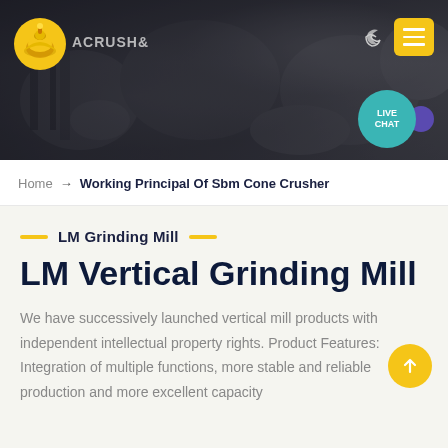[Figure (screenshot): Website header with dark rocky/mining background, yellow logo icon on left, moon and yellow hamburger menu icons on top right, teal LIVE CHAT bubble on right side]
Home → Working Principal Of Sbm Cone Crusher
LM Grinding Mill
LM Vertical Grinding Mill
We have successively launched vertical mill products with independent intellectual property rights. Product Features: Integration of multiple functions, more stable and reliable production and more excellent capacity